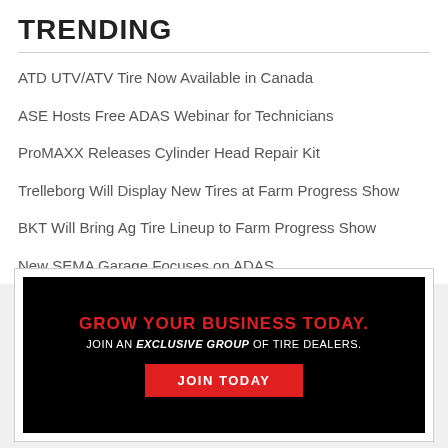TRENDING
ATD UTV/ATV Tire Now Available in Canada
ASE Hosts Free ADAS Webinar for Technicians
ProMAXX Releases Cylinder Head Repair Kit
Trelleborg Will Display New Tires at Farm Progress Show
BKT Will Bring Ag Tire Lineup to Farm Progress Show
New SEMA Garage Focuses on ADAS
[Figure (infographic): Advertisement banner with black background. Red bold text: GROW YOUR BUSINESS TODAY. White text: JOIN AN EXCLUSIVE GROUP OF TIRE DEALERS. Red button with white text: JOIN TODAY.]